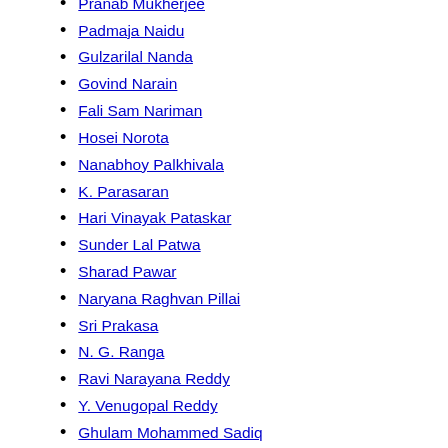Pranab Mukherjee
Padmaja Naidu
Gulzarilal Nanda
Govind Narain
Fali Sam Nariman
Hosei Norota
Nanabhoy Palkhivala
K. Parasaran
Hari Vinayak Pataskar
Sunder Lal Patwa
Sharad Pawar
Naryana Raghvan Pillai
Sri Prakasa
N. G. Ranga
Ravi Narayana Reddy
Y. Venugopal Reddy
Ghulam Mohammed Sadiq
Lakshmi Sahgal
P. A. Sangma
M. C. Setalvad
Kalyan Singh